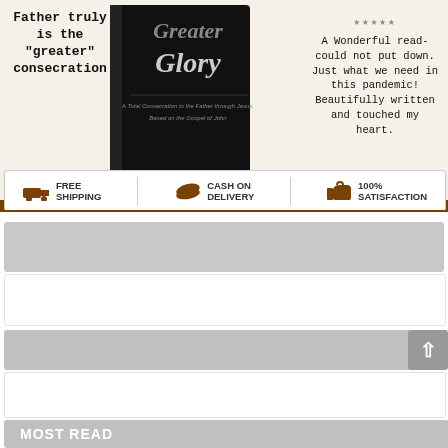[Figure (infographic): Book advertisement for 'Greater Glory: A Total Consecration to the Father through Jesus, Based on the Gospel of John'. Left side has handwritten-style text 'Father truly is the "greater" consecration'. Center shows book cover. Right side shows 5-star review: 'A Wonderful read- could not put down. Just what we need in this pandemic! Beautifully written and touched my heart.' Bottom bar shows Free Shipping, Cash on Delivery, 100% Satisfaction icons.]
[Figure (infographic): Gray placeholder/loading bar block 1]
[Figure (infographic): White placeholder/loading bar block 1]
[Figure (infographic): Gray placeholder/loading bar block 2 with back-to-top arrow button]
[Figure (infographic): White placeholder/loading bar block 2]
MOST READ